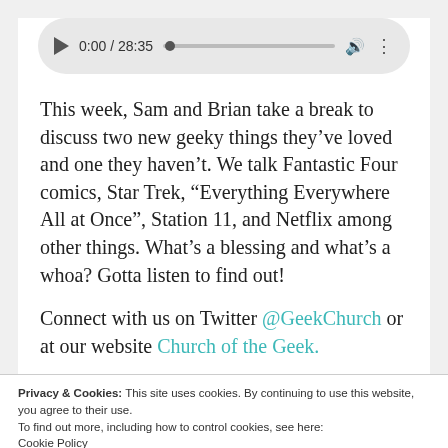[Figure (screenshot): Audio player UI showing play button, time 0:00 / 28:35, progress bar, volume icon, and options icon in a rounded grey pill shape]
This week, Sam and Brian take a break to discuss two new geeky things they've loved and one they haven't. We talk Fantastic Four comics, Star Trek, “Everything Everywhere All at Once”, Station 11, and Netflix among other things. What’s a blessing and what’s a whoa? Gotta listen to find out!
Connect with us on Twitter @GeekChurch or at our website Church of the Geek.
Privacy & Cookies: This site uses cookies. By continuing to use this website, you agree to their use.
To find out more, including how to control cookies, see here:
Cookie Policy
Close and accept